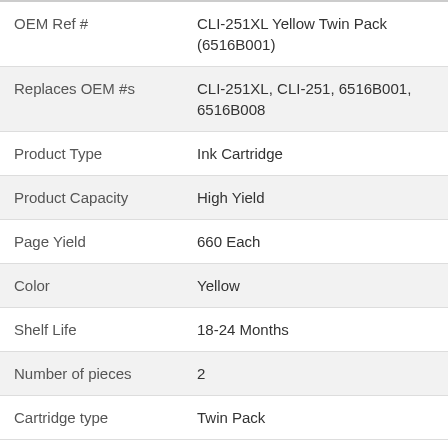| Attribute | Value |
| --- | --- |
| OEM Ref # | CLI-251XL Yellow Twin Pack (6516B001) |
| Replaces OEM #s | CLI-251XL, CLI-251, 6516B001, 6516B008 |
| Product Type | Ink Cartridge |
| Product Capacity | High Yield |
| Page Yield | 660 Each |
| Color | Yellow |
| Shelf Life | 18-24 Months |
| Number of pieces | 2 |
| Cartridge type | Twin Pack |